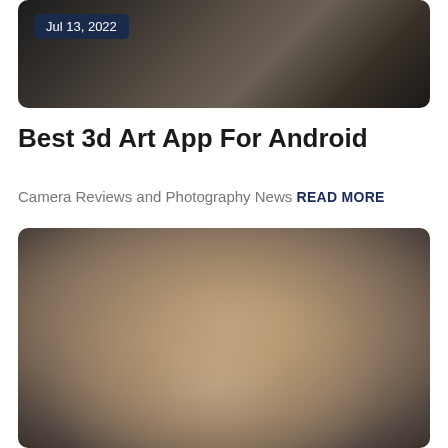[Figure (photo): Blurred dark brownish-grey photographic image used as article header thumbnail]
Jul 13, 2022
Best 3d Art App For Android
Camera Reviews and Photography News READ MORE
[Figure (photo): Blurred warm brownish-tan photographic image, likely showing a blurred subject with pinkish-tan tones in the lower center area]